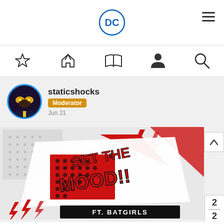[Figure (logo): DC Comics logo (blue circle with DC letters) centered in top navigation bar]
[Figure (infographic): Navigation icons: star/bookmark, home, open book, person/profile, search magnifying glass]
[Figure (photo): User avatar of staticshocks - circular profile image with blue border showing a character with yellow goggles on dark background]
staticshocks
Moderator
Jun 21
[Figure (illustration): Graphic image with bold comic-style text reading SET THE MOOD!! FT. BATGIRLS with red and black graphic design elements including lightning bolts, dots, and angular shapes]